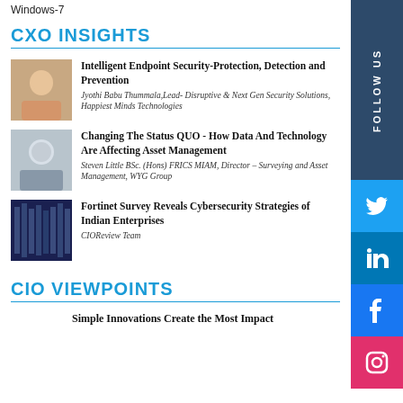Windows-7
CXO INSIGHTS
Intelligent Endpoint Security-Protection, Detection and Prevention
Jyothi Babu Thummala,Lead- Disruptive & Next Gen Security Solutions, Happiest Minds Technologies
Changing The Status QUO - How Data And Technology Are Affecting Asset Management
Steven Little BSc. (Hons) FRICS MIAM, Director – Surveying and Asset Management, WYG Group
Fortinet Survey Reveals Cybersecurity Strategies of Indian Enterprises
CIOReview Team
CIO VIEWPOINTS
Simple Innovations Create the Most Impact